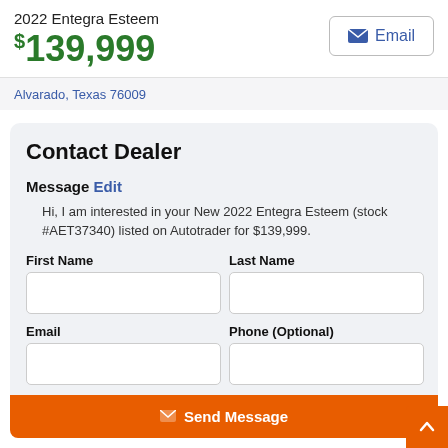2022 Entegra Esteem
$139,999
Alvarado, Texas 76009
Contact Dealer
Message Edit
Hi, I am interested in your New 2022 Entegra Esteem (stock #AET37340) listed on Autotrader for $139,999.
First Name
Last Name
Email
Phone (Optional)
Send Message